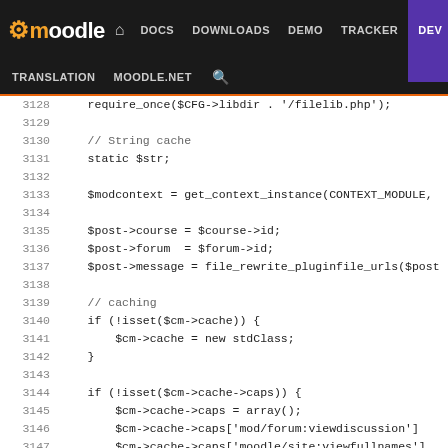[Figure (screenshot): Moodle developer documentation website navigation header with logo, nav links (DOCS, DOWNLOADS, DEMO, TRACKER, DEV highlighted in purple), and secondary nav (TRANSLATION, MOODLE.NET, search icon)]
PHP source code lines 3128-3153 showing Moodle forum module code with require_once, string cache, modcontext, post assignments, caching logic with isset checks for $cm->cache and $cm->cache->caps array assignments for forum capabilities